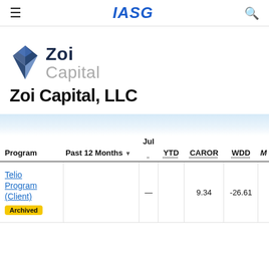≡   IASG   🔍
[Figure (logo): Zoi Capital logo with blue diamond shape and text 'Zoi Capital']
Zoi Capital, LLC
| Program | Past 12 Months | Jul | YTD | CAROR | WDD | M |
| --- | --- | --- | --- | --- | --- | --- |
| Telio Program (Client) [Archived] |  | — |  | 9.34 | -26.61 |  |